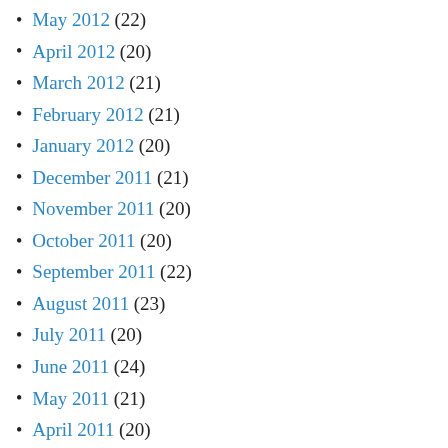May 2012 (22)
April 2012 (20)
March 2012 (21)
February 2012 (21)
January 2012 (20)
December 2011 (21)
November 2011 (20)
October 2011 (20)
September 2011 (22)
August 2011 (23)
July 2011 (20)
June 2011 (24)
May 2011 (21)
April 2011 (20)
March 2011 (23)
February 2011 (19)